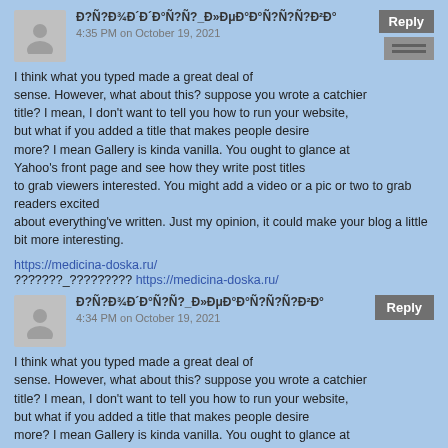Đ?Ñ?Đ¾Đ´Đ°Ñ?Ñ?_Đ»ĐμĐ°Đ°Ñ?Ñ?Ñ?Đ²Đ°
4:35 PM on October 19, 2021
I think what you typed made a great deal of sense. However, what about this? suppose you wrote a catchier title? I mean, I don't want to tell you how to run your website, but what if you added a title that makes people desire more? I mean Gallery is kinda vanilla. You ought to glance at Yahoo's front page and see how they write post titles to grab viewers interested. You might add a video or a pic or two to grab readers excited about everything've written. Just my opinion, it could make your blog a little bit more interesting.
https://medicina-doska.ru/ ???????_????????? https://medicina-doska.ru/
Đ?Ñ?Đ¾Đ´Đ°Ñ?Ñ?_Đ»ĐμĐ°Đ°Ñ?Ñ?Ñ?Đ²Đ°
4:34 PM on October 19, 2021
I think what you typed made a great deal of sense. However, what about this? suppose you wrote a catchier title? I mean, I don't want to tell you how to run your website, but what if you added a title that makes people desire more? I mean Gallery is kinda vanilla. You ought to glance at Yahoo's front page and see how they write post titles